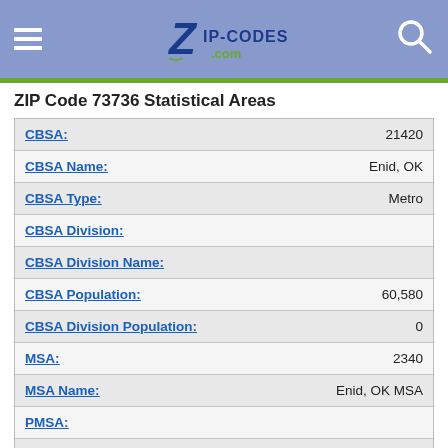ZIP-CODES.com
ZIP Code 73736 Statistical Areas
| Field | Value |
| --- | --- |
| CBSA: | 21420 |
| CBSA Name: | Enid, OK |
| CBSA Type: | Metro |
| CBSA Division: |  |
| CBSA Division Name: |  |
| CBSA Population: | 60,580 |
| CBSA Division Population: | 0 |
| MSA: | 2340 |
| MSA Name: | Enid, OK MSA |
| PMSA: |  |
| PMSA Name: |  |